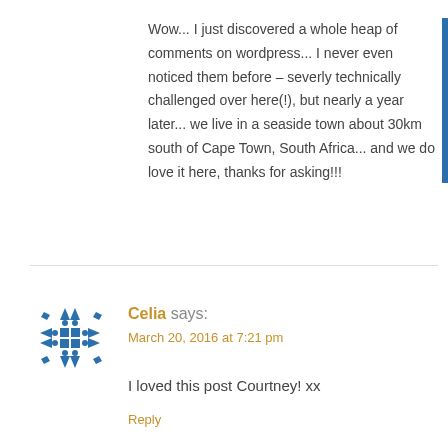Wow... I just discovered a whole heap of comments on wordpress... I never even noticed them before – severly technically challenged over here(!), but nearly a year later... we live in a seaside town about 30km south of Cape Town, South Africa... and we do love it here, thanks for asking!!!
[Figure (illustration): Blue geometric avatar icon made of small blue squares and triangles arranged in a pattern]
Celia says:
March 20, 2016 at 7:21 pm
I loved this post Courtney! xx
Reply